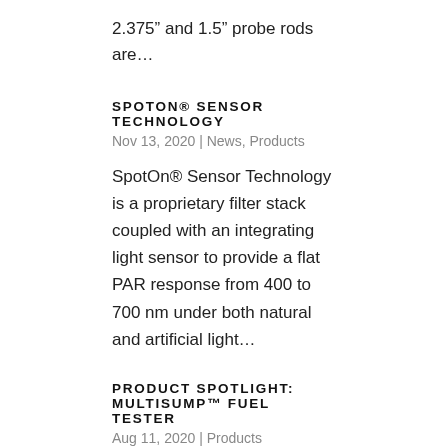2.375” and 1.5” probe rods are…
SPOTON® SENSOR TECHNOLOGY
Nov 13, 2020 | News, Products
SpotOn® Sensor Technology is a proprietary filter stack coupled with an integrating light sensor to provide a flat PAR response from 400 to 700 nm under both natural and artificial light…
PRODUCT SPOTLIGHT: MULTISUMP™ FUEL TESTER
Aug 11, 2020 | Products
Fuel checking made simple An innovative